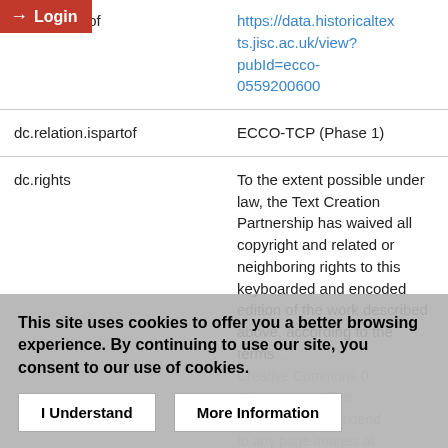| Field | Value |
| --- | --- |
| on.isformatof | https://data.historicaltexts.jisc.ac.uk/view?pubId=ecco-0559200600 |
| dc.relation.ispartof | ECCO-TCP (Phase 1) |
| dc.rights | To the extent possible under law, the Text Creation Partnership has waived all copyright and related or neighboring rights to this keyboarded and encoded edition of the work described above, according to the terms... Creative Commons 0 1.0 Universal. This waiver does not extend to any page images at |
This site uses cookies to offer you a better browsing experience. By continuing to use our site, you consent to our use of cookies.